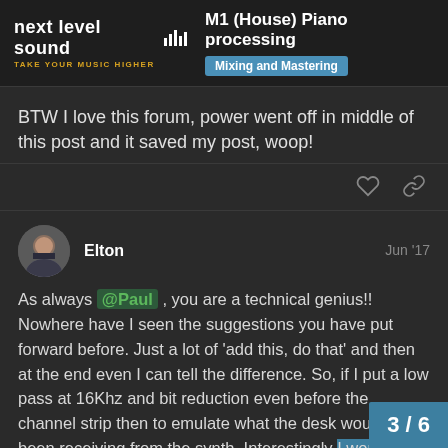next level sound — TAKE YOUR MUSIC HIGHER | M1 (House) Piano processing | Mixing and Mastering
BTW I love this forum, power went off in middle of this post and it saved my post, woop!
Elton — Jun '17
As always @Paul , you are a technical genius!! Nowhere have I seen the suggestions you have put forward before. Just a lot of 'add this, do that' and then at the end even I can tell the difference. So, if I put a low pass at 16Khz and bit reduction even before the channel strip then to emulate what the desk would have been receiving from the synth. Interestingly I wonder whether the X5DR would sound the same as t